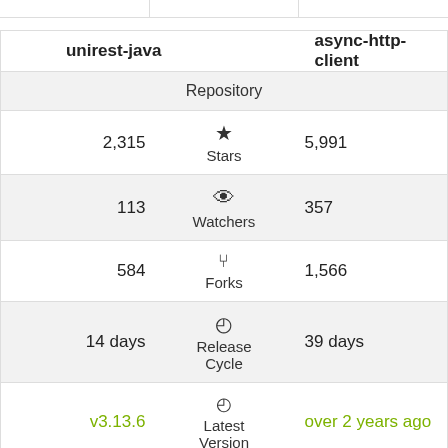| unirest-java |  | async-http-client |
| --- | --- | --- |
|  | Repository |  |
| 2,315 | ★ Stars | 5,991 |
| 113 | 👁 Watchers | 357 |
| 584 | ⌥ Forks | 1,566 |
| 14 days | 🕐 Release Cycle | 39 days |
| v3.13.6 | 🕐 Latest Version | over 2 years ago |